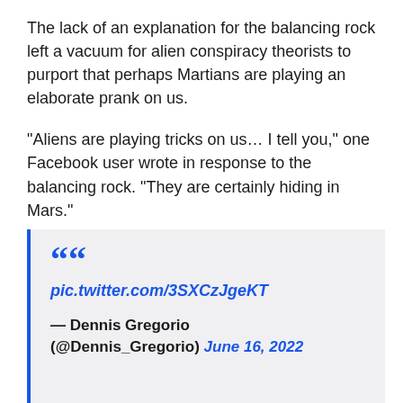The lack of an explanation for the balancing rock left a vacuum for alien conspiracy theorists to purport that perhaps Martians are playing an elaborate prank on us.
“Aliens are playing tricks on us… I tell you,” one Facebook user wrote in response to the balancing rock. “They are certainly hiding in Mars.”
““ pic.twitter.com/3SXCzJgeKT — Dennis Gregorio (@Dennis_Gregorio) June 16, 2022